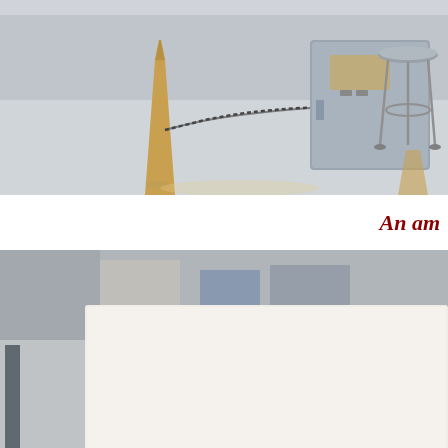[Figure (photo): Museum exhibit photo showing a wooden pyramid-shaped post with a chain barrier in front of a metal equipment case and a metal stool on a polished floor.]
An am
[Figure (photo): Close-up photo of a museum display sign for SR-71 Astro-Inertial Navigation System, showing the sign text partially visible with items in the background.]
SR-71 Astro-Inertial N
Consisted of three components:
1.The star tracker search head inside the top glass window.
2. The three axis gyro stabilized platform inside the